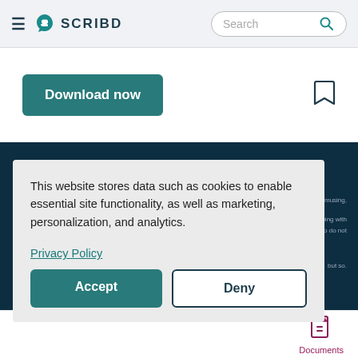SCRIBD
Download now
Learn more
This website stores data such as cookies to enable essential site functionality, as well as marketing, personalization, and analytics.
Privacy Policy
Accept
Deny
Documents